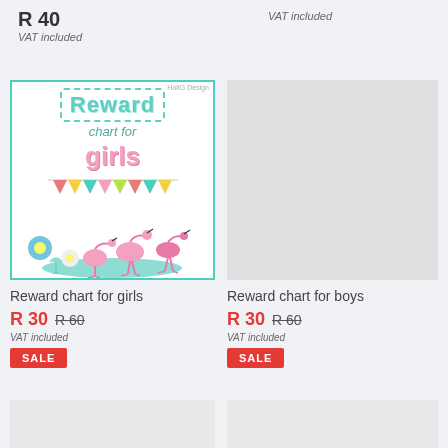R 40
VAT included
VAT included
[Figure (illustration): Reward chart for girls cover image with flamingos, bunting, and flowers]
Reward chart for girls
R 30  R 60
VAT included
SALE
[Figure (photo): Placeholder grey image for Reward chart for boys]
Reward chart for boys
R 30  R 60
VAT included
SALE